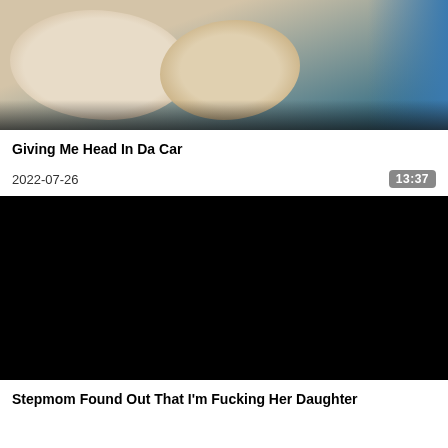[Figure (photo): Video thumbnail showing close-up blurry image with beige and blue tones]
Giving Me Head In Da Car
2022-07-26
13:37
[Figure (photo): Black video thumbnail (no preview)]
Stepmom Found Out That I'm Fucking Her Daughter